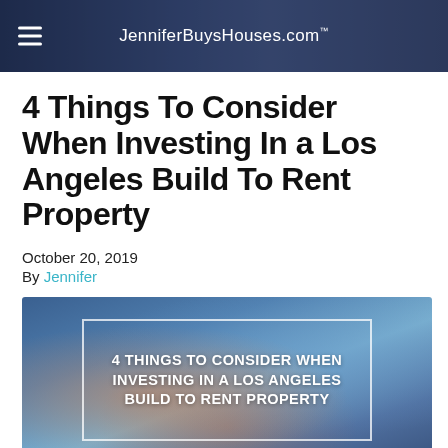JenniferBuysHouses.com
4 Things To Consider When Investing In a Los Angeles Build To Rent Property
October 20, 2019
By Jennifer
[Figure (illustration): Featured image with blurred colorful background and white border containing bold white text reading '4 THINGS TO CONSIDER WHEN INVESTING IN A LOS ANGELES BUILD TO RENT PROPERTY']